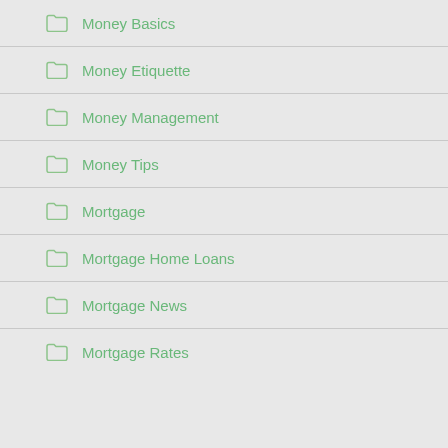Money Basics
Money Etiquette
Money Management
Money Tips
Mortgage
Mortgage Home Loans
Mortgage News
Mortgage Rates